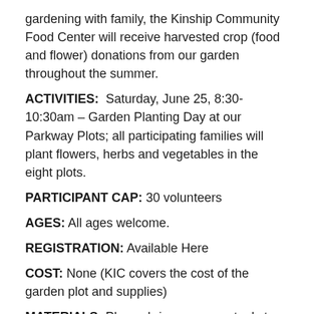gardening with family, the Kinship Community Food Center will receive harvested crop (food and flower) donations from our garden throughout the summer.
ACTIVITIES: Saturday, June 25, 8:30-10:30am – Garden Planting Day at our Parkway Plots; all participating families will plant flowers, herbs and vegetables in the eight plots.
PARTICIPANT CAP: 30 volunteers
AGES: All ages welcome.
REGISTRATION: Available Here
COST: None (KIC covers the cost of the garden plot and supplies)
MATERIALS: Please bring your own tools to the garden. If you do not have tools available, please contact Lynn Raines at lynn@kicmke.org or Adrienne Muller- Goldstein.